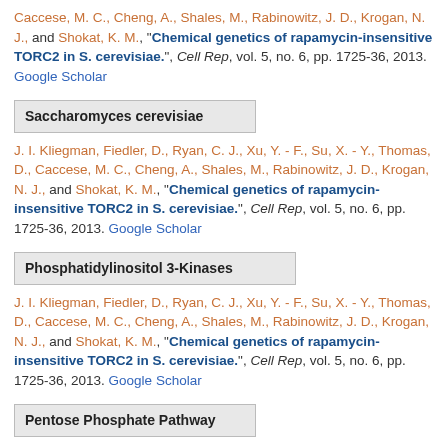Caccese, M. C., Cheng, A., Shales, M., Rabinowitz, J. D., Krogan, N. J., and Shokat, K. M., "Chemical genetics of rapamycin-insensitive TORC2 in S. cerevisiae.", Cell Rep, vol. 5, no. 6, pp. 1725-36, 2013. Google Scholar
Saccharomyces cerevisiae
J. I. Kliegman, Fiedler, D., Ryan, C. J., Xu, Y. - F., Su, X. - Y., Thomas, D., Caccese, M. C., Cheng, A., Shales, M., Rabinowitz, J. D., Krogan, N. J., and Shokat, K. M., "Chemical genetics of rapamycin-insensitive TORC2 in S. cerevisiae.", Cell Rep, vol. 5, no. 6, pp. 1725-36, 2013. Google Scholar
Phosphatidylinositol 3-Kinases
J. I. Kliegman, Fiedler, D., Ryan, C. J., Xu, Y. - F., Su, X. - Y., Thomas, D., Caccese, M. C., Cheng, A., Shales, M., Rabinowitz, J. D., Krogan, N. J., and Shokat, K. M., "Chemical genetics of rapamycin-insensitive TORC2 in S. cerevisiae.", Cell Rep, vol. 5, no. 6, pp. 1725-36, 2013. Google Scholar
Pentose Phosphate Pathway
J. I. Kliegman, Fiedler, D., Ryan, C. J., Xu, Y. - F., Su, X. - Y., Thomas, D., Caccese, M. C., Cheng, A., Shales, M., Rabinowitz, J. D., Krogan, N. J., and Shokat, K. M., "Chemical genetics of rapamycin-insensitive TORC2 in S. cerevisiae."